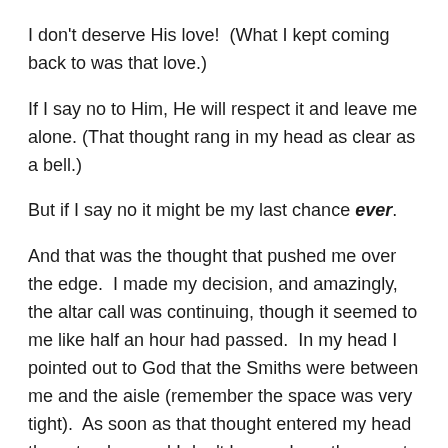I don't deserve His love!  (What I kept coming back to was that love.)
If I say no to Him, He will respect it and leave me alone. (That thought rang in my head as clear as a bell.)
But if I say no it might be my last chance ever.
And that was the thought that pushed me over the edge.  I made my decision, and amazingly, the altar call was continuing, though it seemed to me like half an hour had passed.  In my head I pointed out to God that the Smiths were between me and the aisle (remember the space was very tight).  As soon as that thought entered my head they stood up and I don't know where they went, they just vanished.  Then I ran to the altar, hoping that I wasn't too late because I was sure that a lot of time had passed.